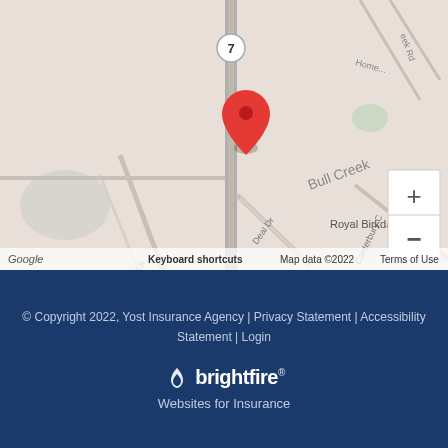[Figure (map): Google Maps screenshot showing a location pin (red marker) near Royal Birkdale area, with roads including Deal Dr, Canterbury C, White Ln, and route 7 visible. Zoom in/out controls shown. Map data ©2022.]
© Copyright 2022, Yost Insurance Agency | Privacy Statement | Accessibility Statement | Login
[Figure (logo): BrightFire logo with flame icon — white text on dark blue background. Below: 'Websites for Insurance']